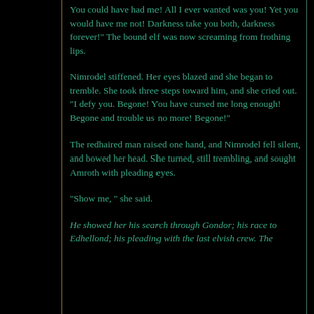You could have had me! All I ever wanted was you! Yet you would have me not! Darkness take you both, darkness forever!" The bound elf was now screaming from frothing lips.
Nimrodel stiffened. Her eyes blazed and she began to tremble. She took three steps toward him, and she cried out. "I defy you. Begone! You have cursed me long enough! Begone and trouble us no more! Begone!"
The redhaired man raised one hand, and Nimrodel fell silent, and bowed her head. She turned, still trembling, and sought Amroth with pleading eyes.
"Show me, " she said.
He showed her his search through Gondor; his race to Edhellond; his pleading with the last elvish crew. The